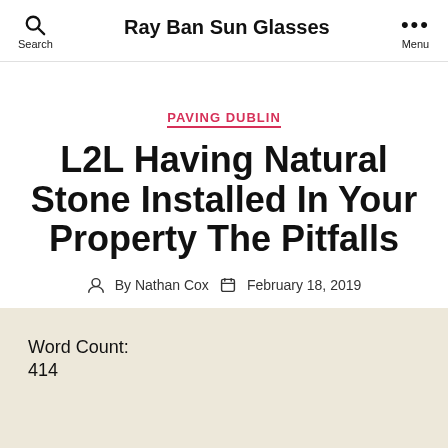Ray Ban Sun Glasses
PAVING DUBLIN
L2L Having Natural Stone Installed In Your Property The Pitfalls
By Nathan Cox  February 18, 2019
Word Count:
414